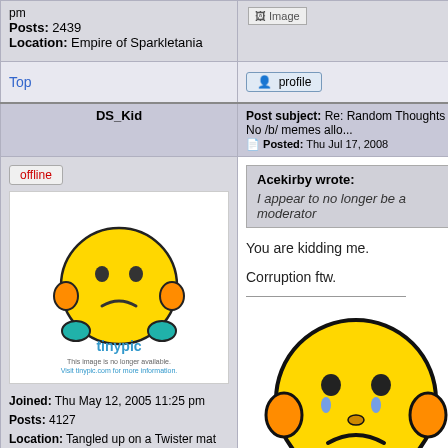pm
Posts: 2439
Location: Empire of Sparkletania
[Figure (other): Broken image placeholder labeled 'Image']
Top
[Figure (other): Profile button with user icon]
DS_Kid
Post subject: Re: Random Thoughts - No /b/ memes allo...
Posted: Thu Jul 17, 2008
offline
[Figure (illustration): Tinypic avatar - sad yellow smiley face character. Image no longer available message shown.]
Joined: Thu May 12, 2005 11:25 pm
Posts: 4127
Location: Tangled up on a Twister mat
Acekirby wrote:
I appear to no longer be a moderator
You are kidding me.

Corruption ftw.
[Figure (illustration): Large sad yellow smiley face emoji character with teardrop, hands on face, orange ears/hands]